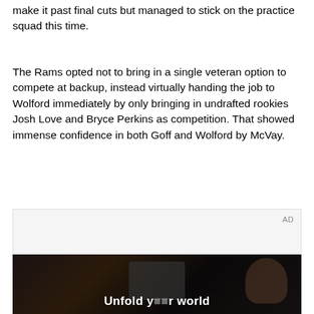make it past final cuts but managed to stick on the practice squad this time.
The Rams opted not to bring in a single veteran option to compete at backup, instead virtually handing the job to Wolford immediately by only bringing in undrafted rookies Josh Love and Bryce Perkins as competition. That showed immense confidence in both Goff and Wolford by McVay.
[Figure (other): Advertisement banner with dark background showing a person holding a phone, with text 'Unfold your world' overlaid at the bottom. AD label in top right corner.]